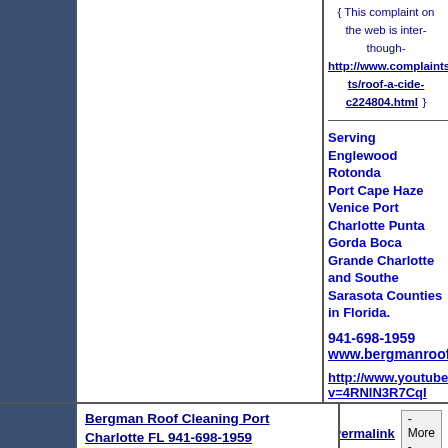{ This complaint on the web is inter- though- http://www.complaintsboard.com/complaints/roof-a-cide-c224804.html }
Serving Englewood Rotonda Port Cape Haze Venice Port Charlotte Punta Gorda Boca Grande Charlotte and Southern Sarasota Counties in Florida.
941-698-1959 www.bergmanroofcleaning http://www.youtube.com/watch?v=4RNlN3R7CqI
Bergman Roof Cleaning Port Charlotte FL 941-698-1959
Permalink - More -
Just noticed. The roof-a-guy now